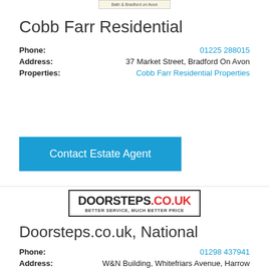[Figure (logo): Bath & Bradford on Avon logo with border]
Cobb Farr Residential
Phone: 01225 288015
Address: 37 Market Street, Bradford On Avon
Properties: Cobb Farr Residential Properties
Contact Estate Agent
[Figure (logo): Doorsteps.co.uk logo — BETTER SERVICE, MUCH BETTER PRICE]
Doorsteps.co.uk, National
Phone: 01298 437941
Address: W&N Building, Whitefriars Avenue, Harrow